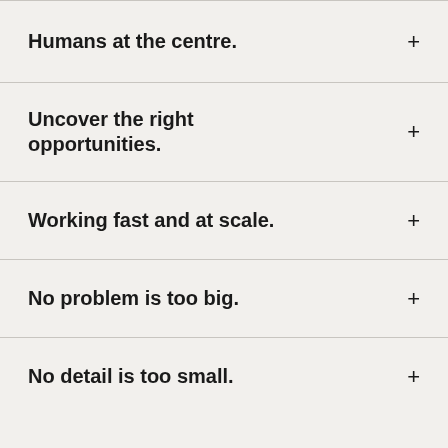Humans at the centre.
Uncover the right opportunities.
Working fast and at scale.
No problem is too big.
No detail is too small.